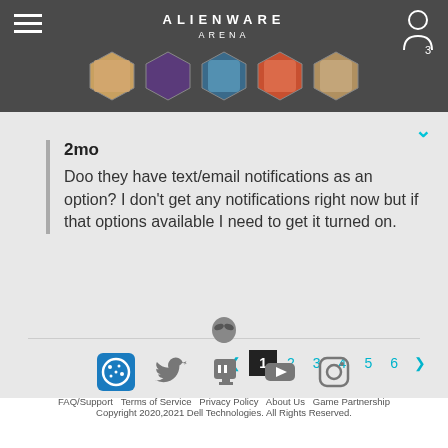ALIENWARE ARENA
2mo
Doo they have text/email notifications as an option?  I don't get any notifications right now but if that options available I need to get it turned on.
1 2 3 4 5 6
FAQ/Support  Terms of Service  Privacy Policy  About Us  Game Partnership
Copyright 2020,2021 Dell Technologies. All Rights Reserved.